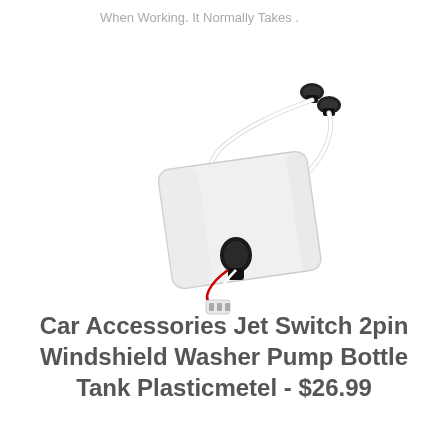When Working. It Normally Takes .
[Figure (photo): Product photo of a windshield washer pump bottle tank with tubing and nozzles, white plastic reservoir with black pump motor and wiring connector, two black spray nozzles shown separately]
Car Accessories Jet Switch 2pin Windshield Washer Pump Bottle Tank Plasticmetel - $26.99